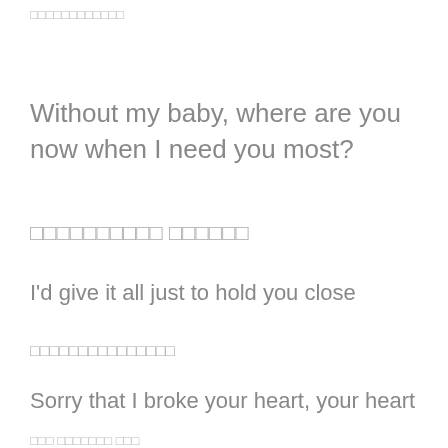□□□□□□□□□□□□
Without my baby, where are you now when I need you most?
□□□□□□□□□□ □□□□□□
I'd give it all just to hold you close
□□□□□□□□□□□□□□□
Sorry that I broke your heart, your heart
□□□ □□□□□□□ □□□